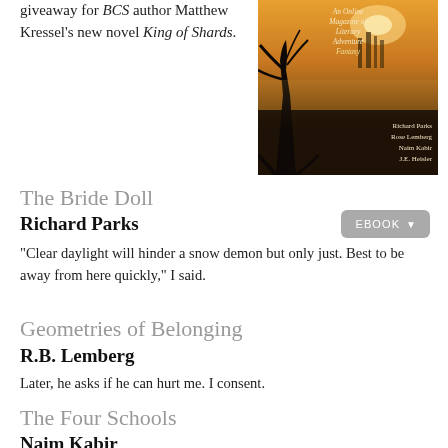giveaway for BCS author Matthew Kressel’s new novel King of Shards.
[Figure (illustration): Magazine cover for BCS (Beneath Ceaseless Skies) - An Online Magazine of Literary Adventure Fantasy, featuring a dark fantasy landscape with a gnarled tree and distant towers, authors: Richard Parks, Rose Lemberg, Naim Kabir, J.E. Heisler]
The Bride Doll
Richard Parks
"Clear daylight will hinder a snow demon but only just. Best to be away from here quickly," I said.
Geometries of Belonging
R.B. Lemberg
Later, he asks if he can hurt me. I consent.
The Four Schools
Naim Kabir